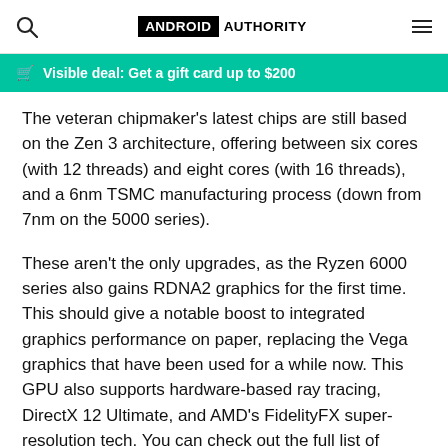ANDROID AUTHORITY
Visible deal: Get a gift card up to $200
The veteran chipmaker’s latest chips are still based on the Zen 3 architecture, offering between six cores (with 12 threads) and eight cores (with 16 threads), and a 6nm TSMC manufacturing process (down from 7nm on the 5000 series).
These aren’t the only upgrades, as the Ryzen 6000 series also gains RDNA2 graphics for the first time. This should give a notable boost to integrated graphics performance on paper, replacing the Vega graphics that have been used for a while now. This GPU also supports hardware-based ray tracing, DirectX 12 Ultimate, and AMD’s FidelityFX super-resolution tech. You can check out the full list of